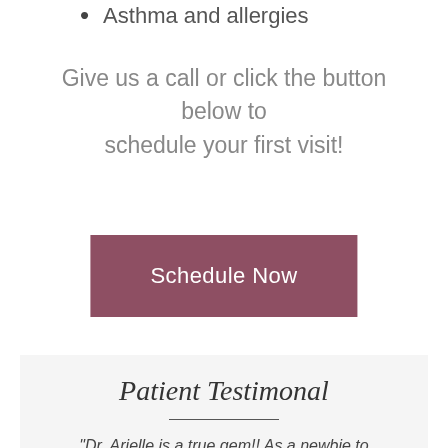Asthma and allergies
Give us a call or click the button below to schedule your first visit!
[Figure (other): Schedule Now button, mauve/dark rose colored rectangle]
Patient Testimonal
"Dr. Arielle is a true gem!! As a newbie to acupuncture I was nervous for my first treatment but Dr. Arielle has such a